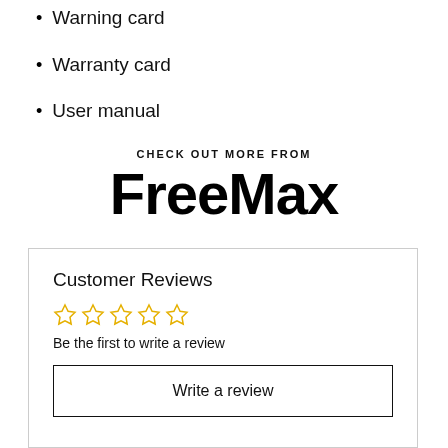Type-C USB charging cable
Warning card
Warranty card
User manual
CHECK OUT MORE FROM
[Figure (logo): FreeMax brand logo in bold black text]
Customer Reviews
[Figure (other): Five empty star rating icons in yellow/gold outline]
Be the first to write a review
Write a review